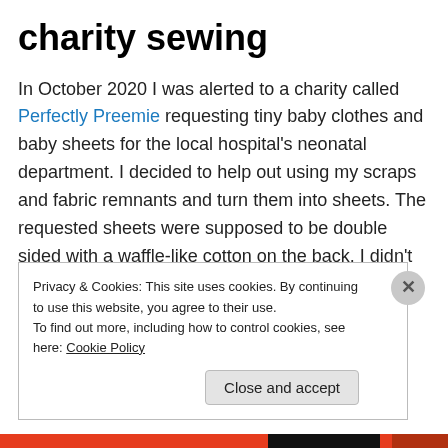charity sewing
In October 2020 I was alerted to a charity called Perfectly Preemie requesting tiny baby clothes and baby sheets for the local hospital's neonatal department. I decided to help out using my scraps and fabric remnants and turn them into sheets. The requested sheets were supposed to be double sided with a waffle-like cotton on the back. I didn't have that type of fabric, so I decided to put some tops together and donate those right away, so somebody else
Privacy & Cookies: This site uses cookies. By continuing to use this website, you agree to their use.
To find out more, including how to control cookies, see here: Cookie Policy
Close and accept